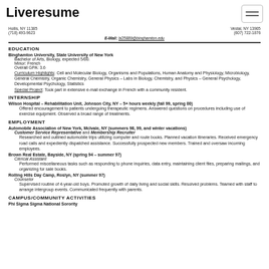Liveresume
Hollis, NY 11385
(718) 493-9623
E-Mail: bi25889@binghamton.edu
Vestal, NY 13905
(607) 722-1876
EDUCATION
Binghamton University, State University of New York
Bachelor of Arts, Biology, expected 5/00.
Minor: French
Overall GPA: 3.6
Curriculum Highlights: Cell and Molecular Biology, Organisms and Populations, Human Anatomy and Physiology, Microbiology, General Chemistry, Organic Chemistry, General Physics – Labs in Biology, Chemistry, and Physics – General Psychology, Developmental Psychology, Statistics
Special Project: Took part in extensive e-mail exchange in French with a community resident.
INTERNSHIP
Wilson Hospital – Rehabilitation Unit, Johnson City, NY – 5+ hours weekly (fall 99, spring 00)
Offered encouragement to patients undergoing therapeutic regimens. Answered questions on procedures including use of exercise equipment. Observed a broad range of treatments.
EMPLOYMENT
Automobile Association of New York, McIvale, NY (summers 98, 99, and winter vacations)
Customer Service Representative and Membership Recruiter
Researched and outlined automobile trips utilizing computer and route books. Planned vacation itineraries. Received emergency road calls and expediently dispatched assistance. Successfully prospected new members. Trained and oversaw incoming employees.
Brown Real Estate, Bayside, NY (spring 94 – summer 97)
Clerical Assistant
Performed miscellaneous tasks such as responding to phone inquiries, data entry, maintaining client files, preparing mailings, and organizing for sale books.
Rolling Hills Day Camp, Roslyn, NY (summer 97)
Counselor
Supervised routine of 4-year-old boys. Promoted growth of daily living and social skills. Resolved problems. Teamed with staff to arrange intergroup events. Communicated frequently with parents.
CAMPUS/COMMUNITY ACTIVITIES
Phi Sigma Sigma National Sorority